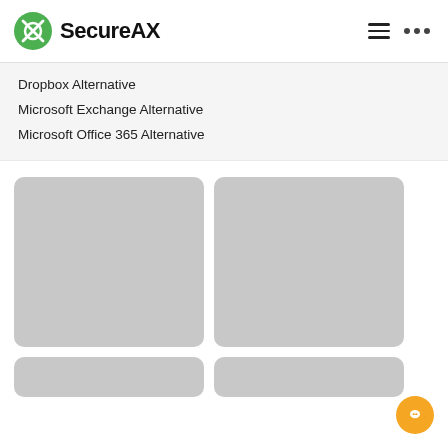SecureAX
Dropbox Alternative
Microsoft Exchange Alternative
Microsoft Office 365 Alternative
[Figure (other): Two gray placeholder image cards side by side]
[Figure (other): Two gray placeholder image cards (partial, bottom row)]